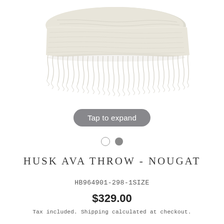[Figure (photo): A folded cream/beige textured throw blanket with long fringe edges, photographed from above on a white background. The Husk Ava Throw in Nougat color.]
Tap to expand
[Figure (other): Two pagination dots: one empty circle and one filled gray circle, indicating image carousel position.]
HUSK AVA THROW - NOUGAT
HB964901-298-1SIZE
$329.00
Tax included. Shipping calculated at checkout.